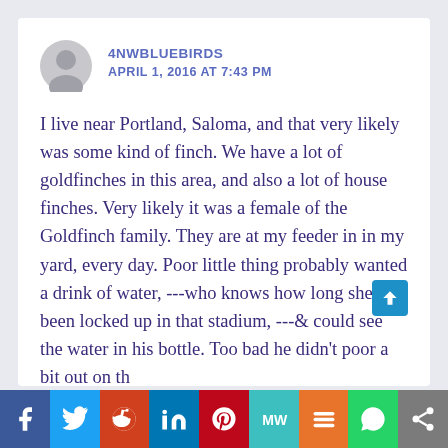4NWBLUEBIRDS
APRIL 1, 2016 AT 7:43 PM
I live near Portland, Saloma, and that very likely was some kind of finch. We have a lot of goldfinches in this area, and also a lot of house finches. Very likely it was a female of the Goldfinch family. They are at my feeder in in my yard, every day. Poor little thing probably wanted a drink of water, ---who knows how long she had been locked up in that stadium, ---& could see the water in his bottle. Too bad he didn't poor a bit out on th